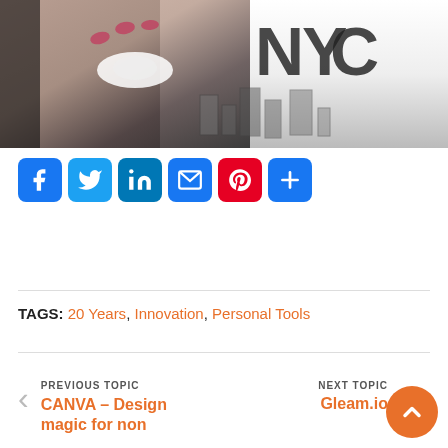[Figure (photo): Photo of a person holding a white saucer, wearing a white t-shirt with NYC graphic print and cityscape design]
[Figure (infographic): Social share buttons: Facebook (blue), Twitter (light blue), LinkedIn (dark blue), Email (blue), Pinterest (red), More/Plus (blue)]
TAGS: 20 Years, Innovation, Personal Tools
PREVIOUS TOPIC
CANVA – Design magic for non
NEXT TOPIC
Gleam.io